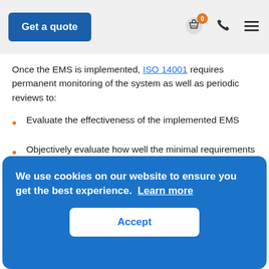Get a quote [navbar with basket, phone, menu icons]
Once the EMS is implemented, ISO 14001 requires permanent monitoring of the system as well as periodic reviews to:
Evaluate the effectiveness of the implemented EMS
Objectively evaluate how well the minimal requirements of the standard are fulfilled
Verify the extent to which the organizational, stakeholder, and legal requirements have been met;
Review the suitability, adequacy, effectiveness and efficiency of the EMS;
We use cookies on our website to ensure you get the best experience. Learn more [Accept button]